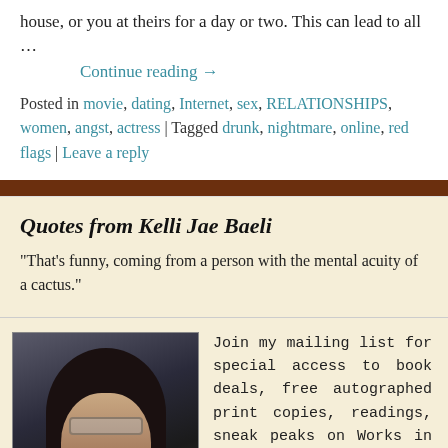house, or you at theirs for a day or two. This can lead to all …
Continue reading →
Posted in movie, dating, Internet, sex, RELATIONSHIPS, women, angst, actress | Tagged drunk, nightmare, online, red flags | Leave a reply
Quotes from Kelli Jae Baeli
"That's funny, coming from a person with the mental acuity of a cactus."
[Figure (photo): Author photo of Kelli Jae Baeli, a woman with dark hair and glasses, sitting in a car]
Join my mailing list for special access to book deals, free autographed print copies, readings, sneak peaks on Works in Progress and much more.